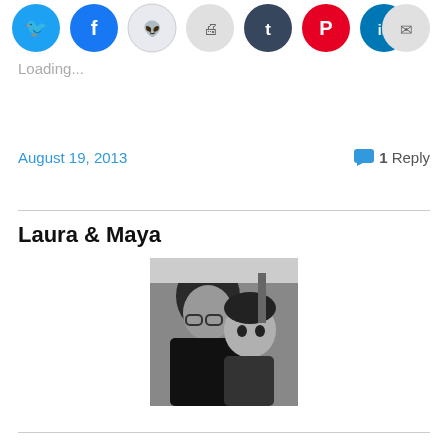[Figure (other): Social media sharing icon buttons: Twitter (blue), Facebook (blue), Reddit (light blue/grey), Print (grey), Tumblr (dark blue), Pinterest (red), LinkedIn (blue), Email (grey)]
Loading...
August 19, 2013    💬 1 Reply
Laura & Maya
[Figure (photo): Black and white photograph of a woman (Laura) looking down at a baby (Maya). The woman is wearing glasses and a dark top. The baby is looking at the camera.]